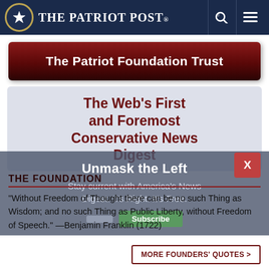THE PATRIOT POST
The Patriot Foundation Trust
The Web's First and Foremost Conservative News Digest
Unmask the Left
Stay current with America's News Digest. It's Right. It's Free.
THE FOUNDATION
“Without Freedom of Thought there can be no such Thing as Wisdom; and no such Thing as Public Liberty, without Freedom of Speech.” —Benjamin Franklin (1722)
MORE FOUNDERS' QUOTES >